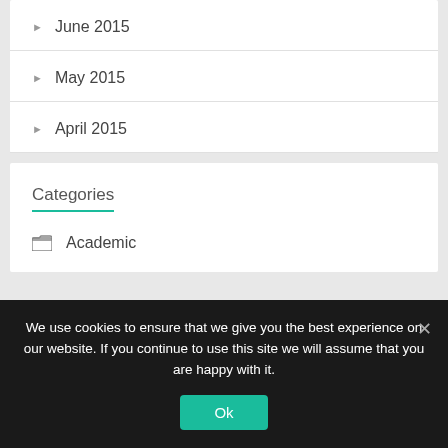June 2015
May 2015
April 2015
Categories
Academic
We use cookies to ensure that we give you the best experience on our website. If you continue to use this site we will assume that you are happy with it.